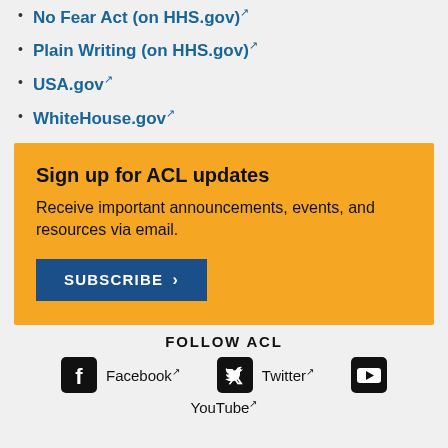No Fear Act (on HHS.gov)
Plain Writing (on HHS.gov)
USA.gov
WhiteHouse.gov
Sign up for ACL updates
Receive important announcements, events, and resources via email.
SUBSCRIBE >
FOLLOW ACL
Facebook Twitter YouTube